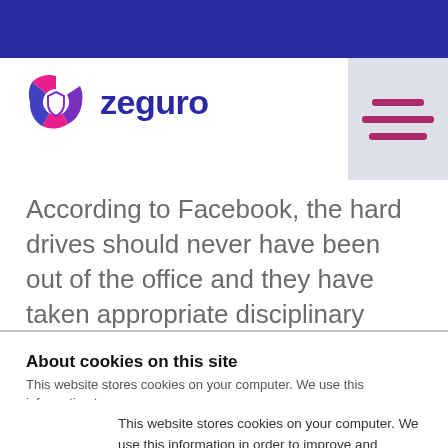[Figure (logo): Zeguro logo with circular icon in pink/purple and blue text 'zeguro']
According to Facebook, the hard drives should never have been out of the office and they have taken appropriate disciplinary actions against
About cookies on this site
This website stores cookies on your computer. We use this information to
This website stores cookies on your computer. We use this information in order to improve and customize your browsing experience. To find out more about the cookies we use, see our Privacy Policy.
Accept
Decline